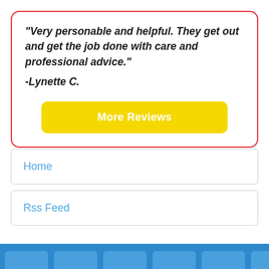"Very personable and helpful. They get out and get the job done with care and professional advice." -Lynette C.
[Figure (other): Yellow button labeled 'More Reviews']
Home
Rss Feed
[Figure (other): Blue footer bar with rounded tile shapes]